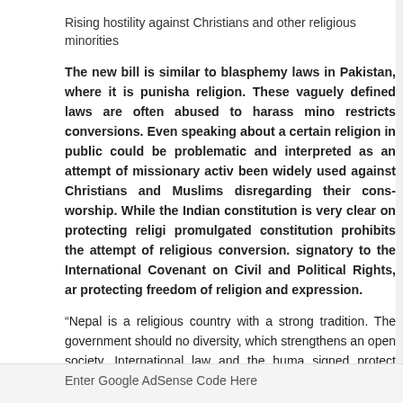Rising hostility against Christians and other religious minorities
The new bill is similar to blasphemy laws in Pakistan, where it is punisha... religion. These vaguely defined laws are often abused to harass mino... restricts conversions. Even speaking about a certain religion in public could be problematic and interpreted as an attempt of missionary activ... been widely used against Christians and Muslims disregarding their cons... worship. While the Indian constitution is very clear on protecting religi... promulgated constitution prohibits the attempt of religious conversion.... signatory to the International Covenant on Civil and Political Rights, ar... protecting freedom of religion and expression.
“Nepal is a religious country with a strong tradition. The government should no... diversity, which strengthens an open society. International law and the huma... signed protect religious minorities. They explicitly allow conversion, missionary... risks to return to a totalitarian society in which individual rights are being se... community should not accept the introduction of a law that abolishes the basi... faith,” Arora added.
– adf international
Tags:
Enter Google AdSense Code Here